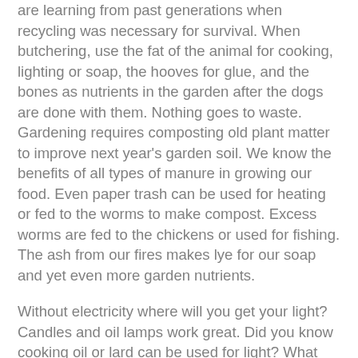are learning from past generations when recycling was necessary for survival. When butchering, use the fat of the animal for cooking, lighting or soap, the hooves for glue, and the bones as nutrients in the garden after the dogs are done with them. Nothing goes to waste. Gardening requires composting old plant matter to improve next year's garden soil. We know the benefits of all types of manure in growing our food. Even paper trash can be used for heating or fed to the worms to make compost. Excess worms are fed to the chickens or used for fishing. The ash from our fires makes lye for our soap and yet even more garden nutrients.
Without electricity where will you get your light? Candles and oil lamps work great. Did you know cooking oil or lard can be used for light? What about making your own tin or glass lanterns? On top of that you could learn how to make wicks for each type. How about making your own glass from sand and even the forge to heat it?
Start with what interests you most, there's no wrong direction. Anything you learn now will serve you and your loved ones in ways you can't even imagine. You may even